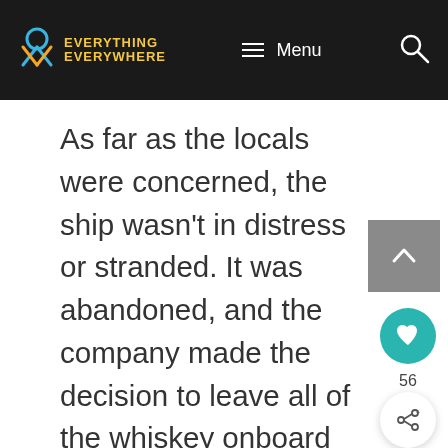EVERYTHING EVERYWHERE — Menu (navigation bar)
As far as the locals were concerned, the ship wasn't in distress or stranded. It was abandoned, and the company made the decision to leave all of the whiskey onboard
[Figure (other): Scroll-to-top button (grey square with upward chevron arrow), heart/like button (teal circle with heart icon, count 56), and share button (white circle with share icon)]